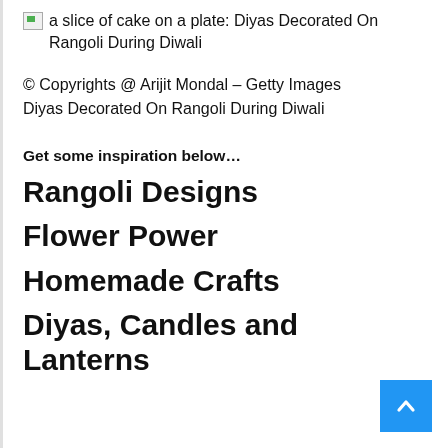[Figure (photo): Broken image placeholder with alt text: a slice of cake on a plate: Diyas Decorated On Rangoli During Diwali]
© Copyrights @ Arijit Mondal – Getty Images
Diyas Decorated On Rangoli During Diwali
Get some inspiration below…
Rangoli Designs
Flower Power
Homemade Crafts
Diyas, Candles and Lanterns